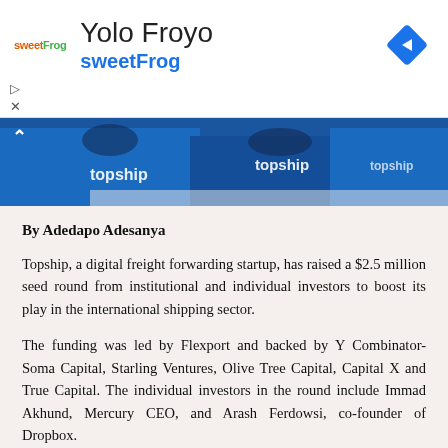[Figure (other): Advertisement banner for sweetFrog / Yolo Froyo with logo, title text, blue navigation diamond icon, and play/close controls]
[Figure (photo): Photo of people wearing blue Topship branded t-shirts with a caret/chevron back arrow overlay]
By Adedapo Adesanya
Topship, a digital freight forwarding startup, has raised a $2.5 million seed round from institutional and individual investors to boost its play in the international shipping sector.
The funding was led by Flexport and backed by Y Combinator- Soma Capital, Starling Ventures, Olive Tree Capital, Capital X and True Capital. The individual investors in the round include Immad Akhund, Mercury CEO, and Arash Ferdowsi, co-founder of Dropbox.